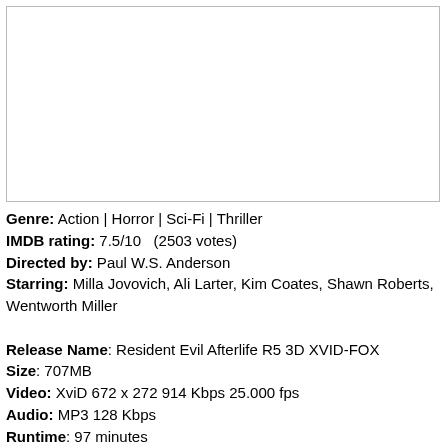[Figure (photo): Empty white image placeholder with border, representing a movie poster or screenshot area.]
Genre: Action | Horror | Sci-Fi | Thriller
IMDB rating: 7.5/10   (2503 votes)
Directed by: Paul W.S. Anderson
Starring: Milla Jovovich, Ali Larter, Kim Coates, Shawn Roberts, Wentworth Miller

Release Name: Resident Evil Afterlife R5 3D XVID-FOX
Size: 707MB
Video: XviD 672 x 272 914 Kbps 25.000 fps
Audio: MP3 128 Kbps
Runtime: 97 minutes
Link : iMDB | NFO | Sample | #1 – 2# – #3